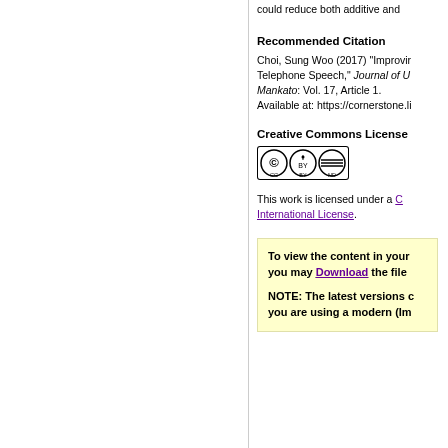could reduce both additive and
Recommended Citation
Choi, Sung Woo (2017) "Improving Telephone Speech," Journal of U Mankato: Vol. 17, Article 1. Available at: https://cornerstone.li
Creative Commons License
[Figure (logo): Creative Commons CC BY-ND license badge]
This work is licensed under a Creative Commons ... International License.
To view the content in your browser, you may Download the file  NOTE: The latest versions of Adobe Reader do not support viewing PDF files within Firefox on Mac OS and if you are using a modern (Im